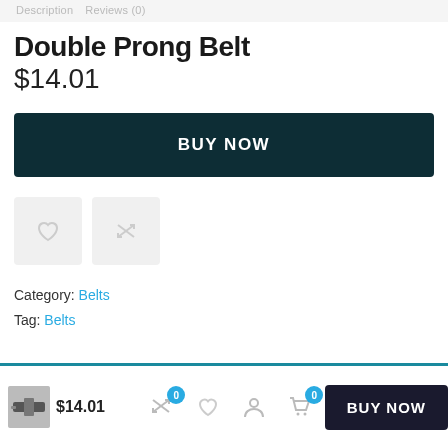Description   Reviews (0)
Double Prong Belt
$14.01
BUY NOW
Category: Belts
Tag: Belts
$14.01  BUY NOW